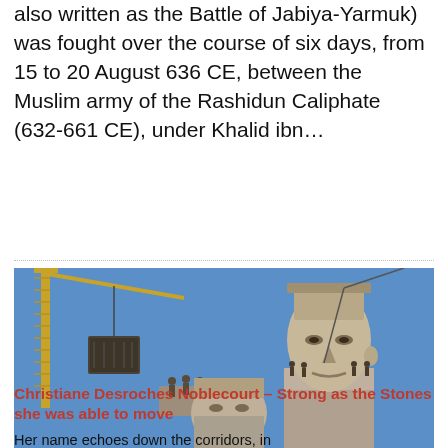also written as the Battle of Jabiya-Yarmuk) was fought over the course of six days, from 15 to 20 August 636 CE, between the Muslim army of the Rashidun Caliphate (632-661 CE), under Khalid ibn...
[Figure (photo): Photograph showing a crane lifting a large stone block near massive ancient Egyptian statue heads (Abu Simbel relocation), with workers standing on top of stone blocks against a blue sky.]
Article
Christiane Desroches Noblecourt - Strong as the Stones she was able to move
Her name echoes down the corridors, in